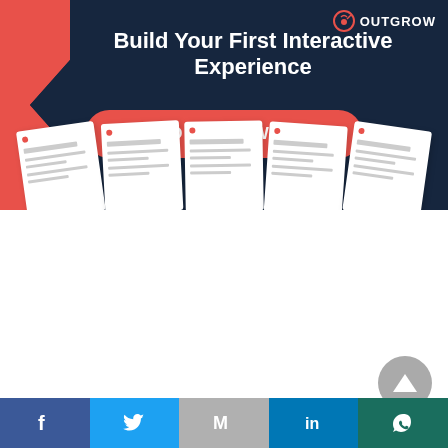[Figure (infographic): Outgrow promotional banner with dark navy background, coral arrow shape on left, document cards at bottom, and CTA button. Logo top right. Title: Build Your First Interactive Experience. CTA: TRY OUTGROW NOW.]
NEXT
[Figure (infographic): Social share bar with Facebook, Twitter, Gmail, LinkedIn, WhatsApp icons]